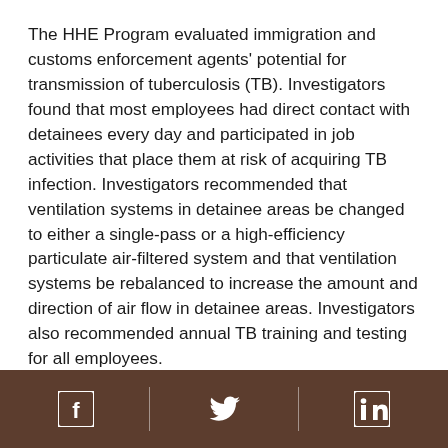The HHE Program evaluated immigration and customs enforcement agents' potential for transmission of tuberculosis (TB). Investigators found that most employees had direct contact with detainees every day and participated in job activities that place them at risk of acquiring TB infection. Investigators recommended that ventilation systems in detainee areas be changed to either a single-pass or a high-efficiency particulate air-filtered system and that ventilation systems be rebalanced to increase the amount and direction of air flow in detainee areas. Investigators also recommended annual TB training and testing for all employees.
/niosh/hhe/reports/pdfs/2009-0074-0193-3114.pdf
[Social media icons: Facebook, Twitter, LinkedIn]